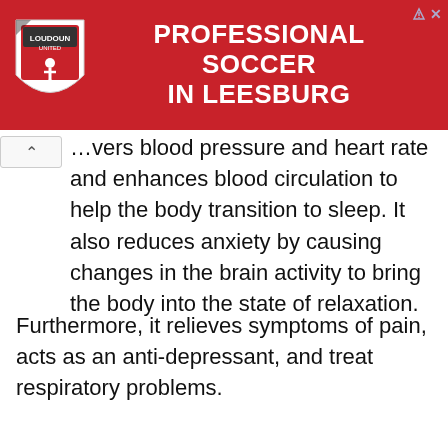[Figure (illustration): Advertisement banner for Loudoun Soccer — red background with a shield logo on the left and bold white text reading 'PROFESSIONAL SOCCER IN LEESBURG' on the right. Small ad icon and close button in top-right corner.]
…vers blood pressure and heart rate and enhances blood circulation to help the body transition to sleep. It also reduces anxiety by causing changes in the brain activity to bring the body into the state of relaxation.
Furthermore, it relieves symptoms of pain, acts as an anti-depressant, and treat respiratory problems.